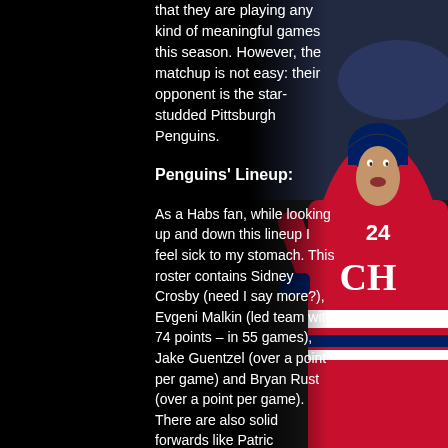that they are playing any kind of meaningful games this season. However, the matchup is not easy: their opponent is the star-studded Pittsburgh Penguins.
Penguins' Lineup:
As a Habs fan, while looking up and down this lineup I feel sick to my stomach. This roster contains Sidney Crosby (need I say more?), Evgeni Malkin (led team with 74 points – in 55 games), Jake Guentzel (over a point per game) and Bryan Rust (over a point per game). There are also solid forwards like Patric Hornqvist, Jason Zucker and Jared McCann. And that was just the forwards!
[Figure (photo): Hockey player wearing Montreal Canadiens red jersey with number 24 and blue helmet, celebrating]